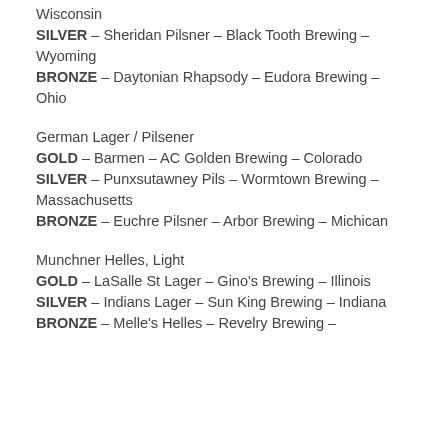Wisconsin
SILVER – Sheridan Pilsner – Black Tooth Brewing – Wyoming
BRONZE – Daytonian Rhapsody – Eudora Brewing – Ohio
German Lager / Pilsener
GOLD – Barmen – AC Golden Brewing – Colorado
SILVER – Punxsutawney Pils – Wormtown Brewing – Massachusetts
BRONZE – Euchre Pilsner – Arbor Brewing – Michican
Munchner Helles, Light
GOLD – LaSalle St Lager – Gino's Brewing – Illinois
SILVER – Indians Lager – Sun King Brewing – Indiana
BRONZE – Melle's Helles – Revelry Brewing –